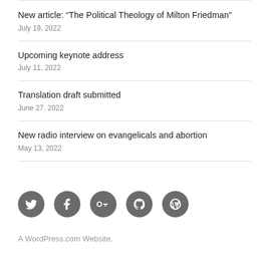New article: “The Political Theology of Milton Friedman”
July 19, 2022
Upcoming keynote address
July 11, 2022
Translation draft submitted
June 27, 2022
New radio interview on evangelicals and abortion
May 13, 2022
[Figure (infographic): Five social media icon circles (Twitter, Facebook, Google+, GitHub, WordPress) in dark gray]
A WordPress.com Website.